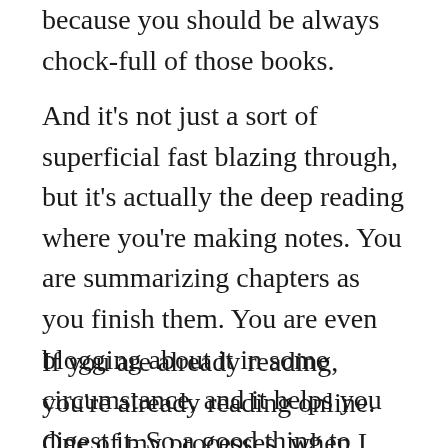because you should be always chock-full of those books.
And it's not just a sort of superficial fast blazing through, but it's actually the deep reading where you're making notes. You are summarizing chapters as you finish them. You are even blogging about it in some circumstance, and it helps you digest it. So a good thing to challenge that assumption.
If you are already reading, you're already reading online. One of my processes, when I actually do read something that I like, if I see something I can't read right away, I'll save it